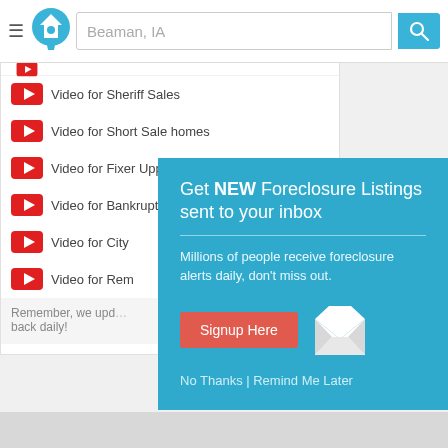[Figure (screenshot): Website header with hamburger menu, house logo, search bar showing 'Beaman, IA', and blue search button with magnifying glass icon]
Video for Sheriff Sales
Video for Short Sale homes
Video for Fixer Upper homes
Video for Bankruptcy homes
Video for City [partially hidden]
Video for Rem[partially hidden]
Remember, we upd[...] back daily!
[Figure (infographic): Popup overlay on teal background: 'Get NEW Foreclosure Listings sent to your inbox' with subtitle 'Millions of people receive foreclosure alerts daily, don't miss out.' and a 'Signup Here' button and envelope icon. Links: 'No Thanks | Remind Me Later']